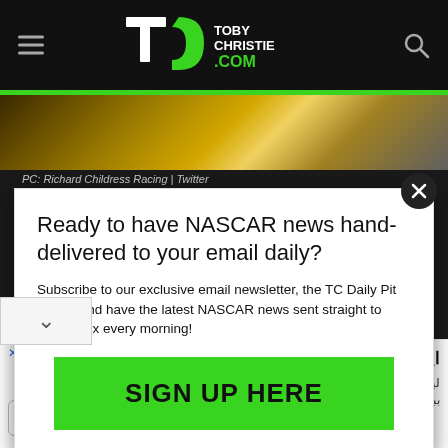[Figure (screenshot): TobeyChristie.com website header with dark background, TC logo in center, hamburger menu icon on left, search icon on right, green accent bar below]
PC: Richard Childress Racing | Twitter
Ready to have NASCAR news hand-delivered to your email daily?
Subscribe to our exclusive email newsletter, the TC Daily Pit Stop – and have the latest NASCAR news sent straight to your inbox every morning!
SIGN UP HERE
این تابستون برنامه سفرت چیه؟
لیست قیمت سفر دلخواهت توی تابستون امسال (همین حالا ببین که وقتی نمونده!) سفرهای علی بابا
باز کردن